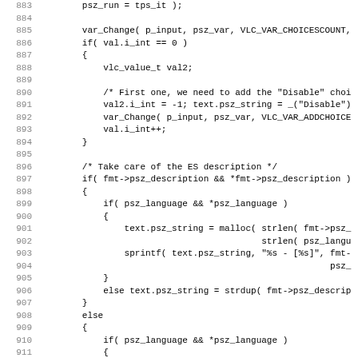[Figure (screenshot): Source code listing showing C code for a media player function handling variable changes for ES (Elementary Stream) descriptions, with line numbers 884-915. Code includes var_Change calls, conditional logic for psz_description and psz_language, malloc, sprintf, strdup, and asprintf calls.]